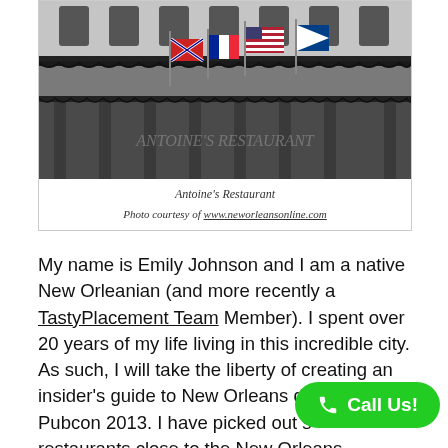[Figure (photo): Photograph of Antoine's Restaurant facade in New Orleans, showing a historic building with ornate iron balconies and flags including a French flag, displayed on the upper floors. The restaurant name is visible on the lower facade.]
Antoine's Restaurant
Photo courtesy of www.neworleansonline.com
My name is Emily Johnson and I am a native New Orleanian (and more recently a TastyPlacement Team Member). I spent over 20 years of my life living in this incredible city. As such, I will take the liberty of creating an insider's guide to New Orleans dining for Pubcon 2013. I have picked out some restaurants close to the New Orleans Convention